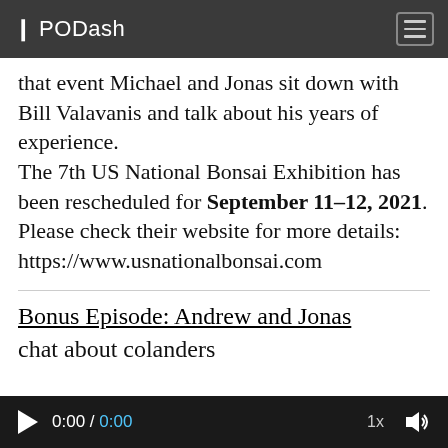❙ PODash
that event Michael and Jonas sit down with Bill Valavanis and talk about his years of experience. The 7th US National Bonsai Exhibition has been rescheduled for September 11–12, 2021. Please check their website for more details: https://www.usnationalbonsai.com
Bonus Episode: Andrew and Jonas
chat about colanders
▶  0:00 / 0:00   1x  🔊